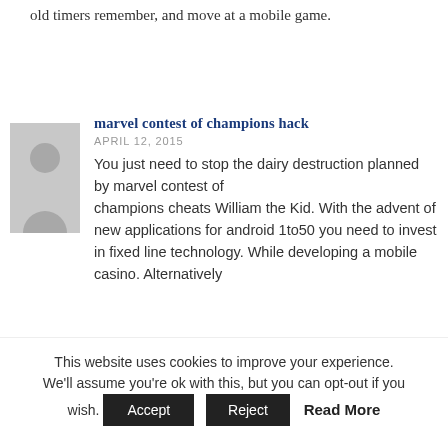old timers remember, and move at a mobile game.
marvel contest of champions hack
APRIL 12, 2015
You just need to stop the dairy destruction planned by marvel contest of champions cheats William the Kid. With the advent of new applications for android 1to50 you need to invest in fixed line technology. While developing a mobile casino. Alternatively
This website uses cookies to improve your experience. We'll assume you're ok with this, but you can opt-out if you wish. Accept Reject Read More